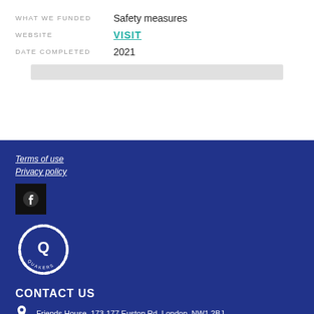WHAT WE FUNDED: Safety measures
WEBSITE: VISIT
DATE COMPLETED: 2021
Terms of use
Privacy policy
[Figure (logo): Facebook icon square black background]
[Figure (logo): Quakers circular logo in white on dark blue background]
CONTACT US
Friends House, 173-177 Euston Rd, London, NW1 2BJ
0207 663 1051